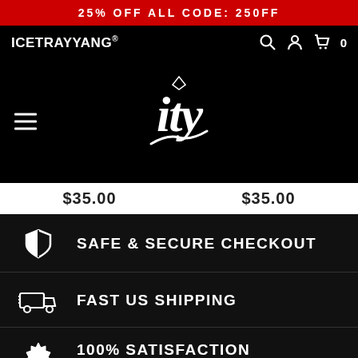25% OFF ALL CODE: 250FF
ICETRAYYANG®
[Figure (logo): ITY brand script logo with diamond icon on black background]
$35.00   $35.00
SAFE & SECURE CHECKOUT
FAST US SHIPPING
100% SATISFACTION GUARANTEED